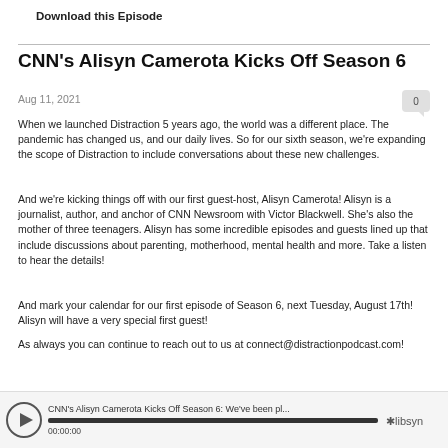Download this Episode
CNN's Alisyn Camerota Kicks Off Season 6
Aug 11, 2021
When we launched Distraction 5 years ago, the world was a different place. The pandemic has changed us, and our daily lives. So for our sixth season, we're expanding the scope of Distraction to include conversations about these new challenges.
And we're kicking things off with our first guest-host, Alisyn Camerota! Alisyn is a journalist, author, and anchor of CNN Newsroom with Victor Blackwell. She's also the mother of three teenagers. Alisyn has some incredible episodes and guests lined up that include discussions about parenting, motherhood, mental health and more. Take a listen to hear the details!
And mark your calendar for our first episode of Season 6, next Tuesday, August 17th! Alisyn will have a very special first guest!
As always you can continue to reach out to us at connect@distractionpodcast.com!
[Figure (other): Audio player widget showing CNN's Alisyn Camerota Kicks Off Season 6 episode with play button, progress bar at 00:00:00, and Libsyn logo]